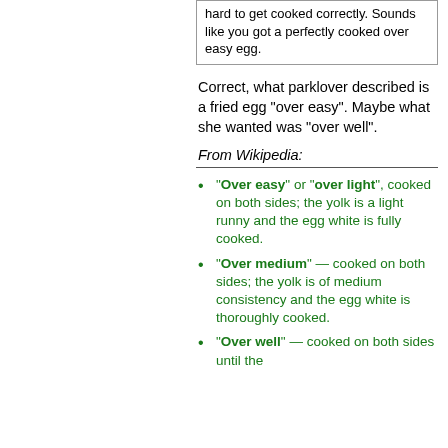hard to get cooked correctly. Sounds like you got a perfectly cooked over easy egg.
Correct, what parklover described is a fried egg "over easy". Maybe what she wanted was "over well".
From Wikipedia:
"Over easy" or "over light", cooked on both sides; the yolk is a light runny and the egg white is fully cooked.
"Over medium" — cooked on both sides; the yolk is of medium consistency and the egg white is thoroughly cooked.
"Over well" — cooked on both sides until the